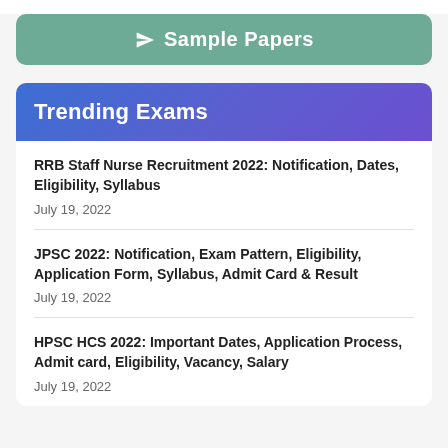Sample Papers
Trending Exams
RRB Staff Nurse Recruitment 2022: Notification, Dates, Eligibility, Syllabus
July 19, 2022
JPSC 2022: Notification, Exam Pattern, Eligibility, Application Form, Syllabus, Admit Card & Result
July 19, 2022
HPSC HCS 2022: Important Dates, Application Process, Admit card, Eligibility, Vacancy, Salary
July 19, 2022